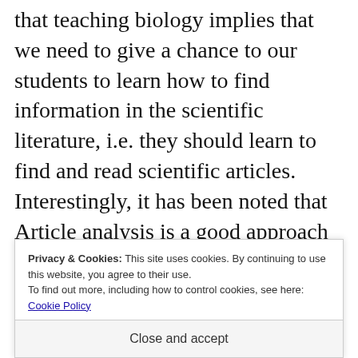that teaching biology implies that we need to give a chance to our students to learn how to find information in the scientific literature, i.e. they should learn to find and read scientific articles. Interestingly, it has been noted that Article analysis is a good approach to teach biology (1) and to learn research methods (2-3). I have therefore decided to include these in the learning outcomes of my courses. Of course
Privacy & Cookies: This site uses cookies. By continuing to use this website, you agree to their use. To find out more, including how to control cookies, see here: Cookie Policy
Close and accept